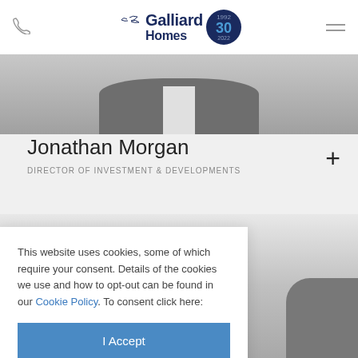Galliard Homes (30th anniversary logo), phone icon, menu icon
[Figure (photo): Partial photo of a person in a dark suit, cropped at top, showing only torso/shoulder area against a grey background]
Jonathan Morgan
DIRECTOR OF INVESTMENT & DEVELOPMENTS
[Figure (photo): Photo of a second person, showing head and partial torso/jacket against a light grey background]
This website uses cookies, some of which require your consent. Details of the cookies we use and how to opt-out can be found in our Cookie Policy. To consent click here:
I Accept